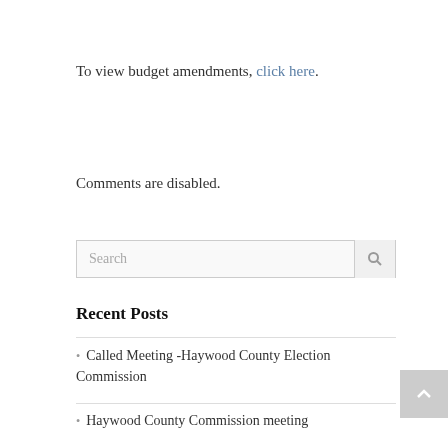To view budget amendments, click here.
Comments are disabled.
Recent Posts
Called Meeting -Haywood County Election Commission
Haywood County Commission meeting